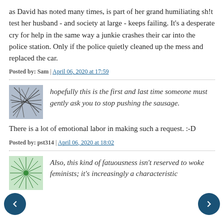as David has noted many times, is part of her grand humiliating sh!t test her husband - and society at large - keeps failing. It's a desperate cry for help in the same way a junkie crashes their car into the police station. Only if the police quietly cleaned up the mess and replaced the car.
Posted by: Sam | April 06, 2020 at 17:59
[Figure (illustration): Abstract line drawing avatar image - gray/blue tones with overlapping curved lines]
hopefully this is the first and last time someone must gently ask you to stop pushing the sausage.
There is a lot of emotional labor in making such a request. :-D
Posted by: pst314 | April 06, 2020 at 18:02
[Figure (illustration): Abstract radial/starburst pattern avatar - green tones]
Also, this kind of fatuousness isn't reserved to woke feminists; it's increasingly a characteristic